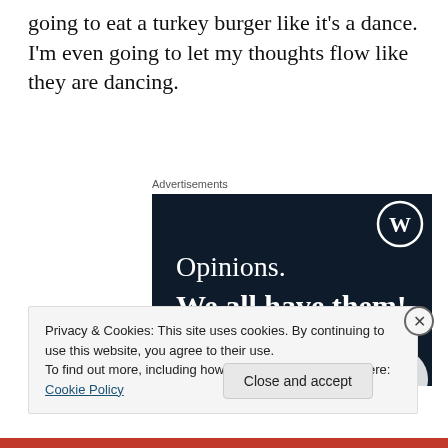going to eat a turkey burger like it's a dance. I'm even going to let my thoughts flow like they are dancing.
Advertisements
[Figure (illustration): WordPress advertisement banner with dark navy background, WordPress logo (W in circle) top right, text 'Opinions.' in white serif and 'We all have them!' in white bold serif, pink button at bottom, white circular element bottom right.]
Privacy & Cookies: This site uses cookies. By continuing to use this website, you agree to their use.
To find out more, including how to control cookies, see here: Cookie Policy